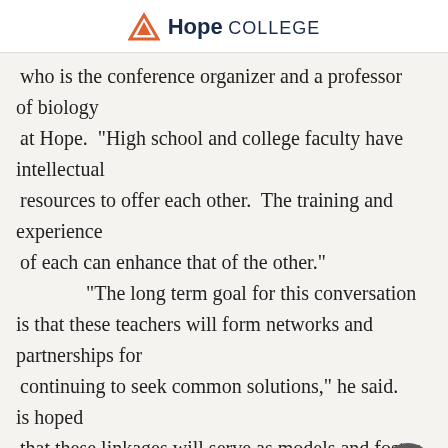Hope College
who is the conference organizer and a professor of biology
  at Hope.  "High school and college faculty have intellectual
  resources to offer each other.  The training and experience
  of each can enhance that of the other."
        "The long term goal for this conversation is that these teachers will form networks and partnerships for
  continuing to seek common solutions," he said.  is hoped
  that these linkages will serve as models and foster
  such